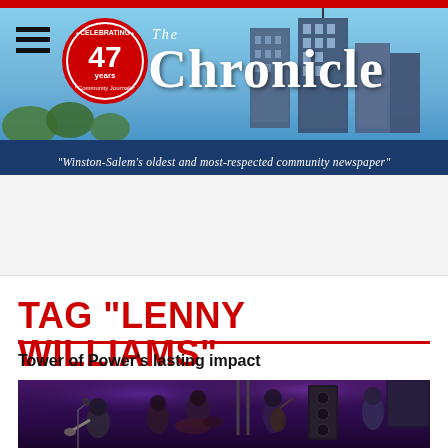[Figure (photo): The Chronicle newspaper website header with city skyline photo, 47 years celebrating badge, and Chronicle logo]
"Winston-Salem's oldest and most-respected community newspaper"
TAG "LENNY WILLIAMS"
Tower of Power's lasting impact
[Figure (photo): Tower of Power band performing on stage with purple stage lighting, multiple musicians with instruments including guitars, trumpets, and drums]